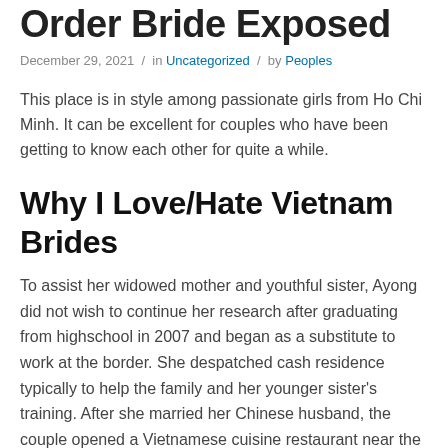Order Bride Exposed
December 29, 2021 / in Uncategorized / by Peoples
This place is in style among passionate girls from Ho Chi Minh. It can be excellent for couples who have been getting to know each other for quite a while.
Why I Love/Hate Vietnam Brides
To assist her widowed mother and youthful sister, Ayong did not wish to continue her research after graduating from highschool in 2007 and began as a substitute to work at the border. She despatched cash residence typically to help the family and her younger sister's training. After she married her Chinese husband, the couple opened a Vietnamese cuisine restaurant near the Friendship Port. Then, Ayong requested her mom and sister to return collectively to help with the family business. She spent a lot of money on constructing a big house for her household and visited home in Vietnam quite